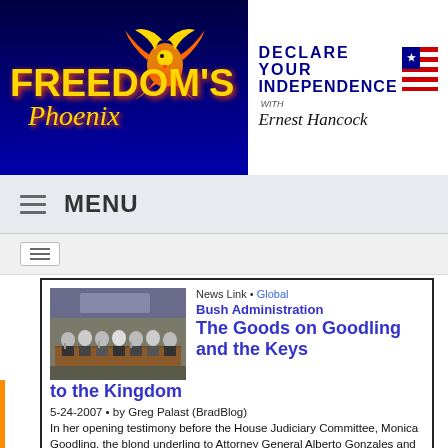[Figure (logo): Freedom's Phoenix logo with golden phoenix bird on blue background with yellow text]
[Figure (logo): Declare Your Independence with Ernest Hancock logo with American flag graphic and signature]
MENU
[Figure (photo): Group of people seated at a long table in a formal hearing room setting]
News Link • Global
Bush Administration
The Goods on Goodling and the Keys to the Kingdom
5-24-2007 • by Greg Palast (BradBlog)
In her opening testimony before the House Judiciary Committee, Monica Goodling, the blond underling to Attorney General Alberto Gonzales and Department of Justice Liaison to the White House, dropped The Big One...and the Committee members didn't